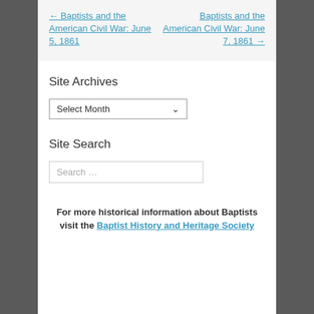← Baptists and the American Civil War: June 5, 1861
Baptists and the American Civil War: June 7, 1861 →
Site Archives
Select Month
Site Search
Search …
For more historical information about Baptists visit the Baptist History and Heritage Society